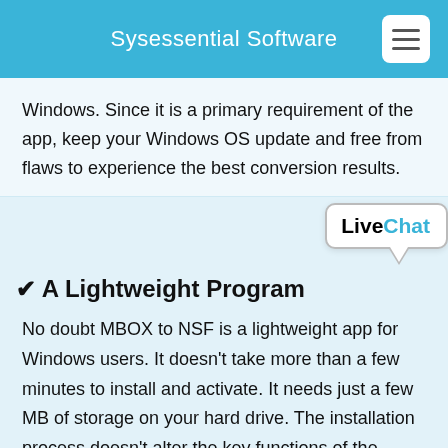Sysessential Software
Windows. Since it is a primary requirement of the app, keep your Windows OS update and free from flaws to experience the best conversion results.
[Figure (other): LiveChat bubble widget in top-right corner]
✔ A Lightweight Program
No doubt MBOX to NSF is a lightweight app for Windows users. It doesn't take more than a few minutes to install and activate. It needs just a few MB of storage on your hard drive. The installation process doesn't alter the key functions of the system. For storage, the